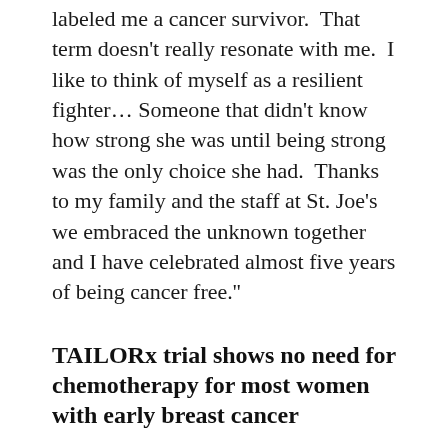labeled me a cancer survivor. That term doesn't really resonate with me. I like to think of myself as a resilient fighter... Someone that didn't know how strong she was until being strong was the only choice she had. Thanks to my family and the staff at St. Joe's we embraced the unknown together and I have celebrated almost five years of being cancer free.''
TAILORx trial shows no need for chemotherapy for most women with early breast cancer
The TAILORx trial, launched in 2006 and supported by the National Cancer Institute,